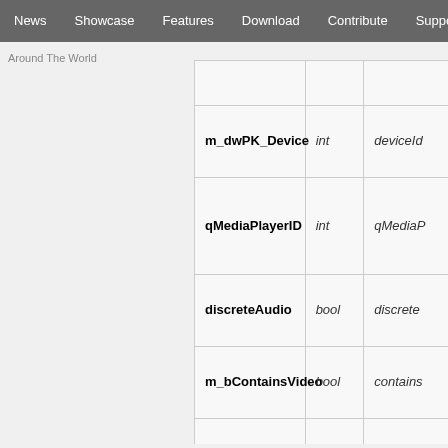News  Showcase  Features  Download  Contribute  Support
Around The World
| Field | Type | Accessor |
| --- | --- | --- |
| m_dwPK_Device | int | deviceId... |
| qMediaPlayerID | int | qMediaP... |
| discreteAudio | bool | discrete... |
| m_bContainsVideo | bool | contains... |
| usingLiveAv | bool | liveAvPa... |
| m_bIsOSD | bool | isOsd() |
| monitorAvailible | bool | monitor... |